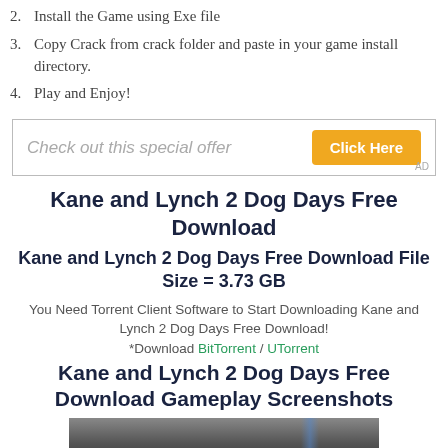2. Install the Game using Exe file
3. Copy Crack from crack folder and paste in your game install directory.
4. Play and Enjoy!
[Figure (other): Advertisement banner: 'Check out this special offer' with yellow 'Click Here' button]
Kane and Lynch 2 Dog Days Free Download
Kane and Lynch 2 Dog Days Free Download File Size = 3.73 GB
You Need Torrent Client Software to Start Downloading Kane and Lynch 2 Dog Days Free Download! *Download BitTorrent / UTorrent
Kane and Lynch 2 Dog Days Free Download Gameplay Screenshots
[Figure (photo): Dark screenshot of Kane and Lynch 2 Dog Days gameplay]